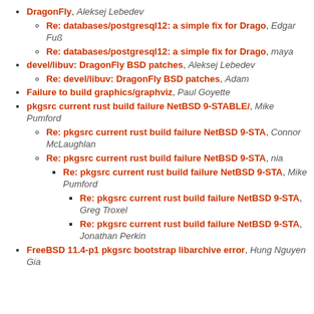DragonFly, Aleksej Lebedev
Re: databases/postgresql12: a simple fix for Drago, Edgar Fuß
Re: databases/postgresql12: a simple fix for Drago, maya
devel/libuv: DragonFly BSD patches, Aleksej Lebedev
Re: devel/libuv: DragonFly BSD patches, Adam
Failure to build graphics/graphviz, Paul Goyette
pkgsrc current rust build failure NetBSD 9-STABLE/, Mike Pumford
Re: pkgsrc current rust build failure NetBSD 9-STA, Connor McLaughlan
Re: pkgsrc current rust build failure NetBSD 9-STA, nia
Re: pkgsrc current rust build failure NetBSD 9-STA, Mike Pumford
Re: pkgsrc current rust build failure NetBSD 9-STA, Greg Troxel
Re: pkgsrc current rust build failure NetBSD 9-STA, Jonathan Perkin
FreeBSD 11.4-p1 pkgsrc bootstrap libarchive error, Hung Nguyen Gia